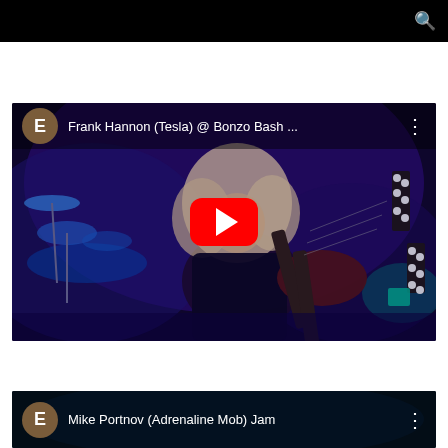[Figure (screenshot): YouTube video thumbnail showing Frank Hannon (Tesla) @ Bonzo Bash ... playing a double-neck guitar on stage with blue/purple stage lighting, with a YouTube play button overlay and channel avatar showing 'E']
[Figure (screenshot): Partial YouTube video thumbnail for Mike Portnov (Adrenaline Mob) Jam with channel avatar showing 'E']